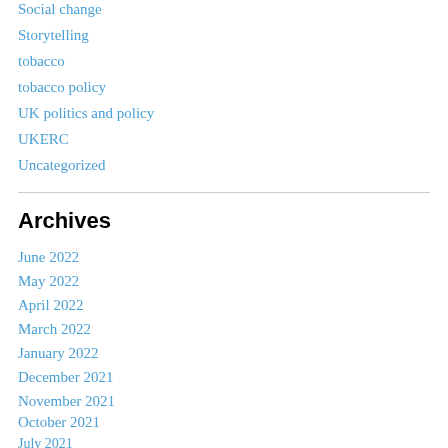Social change
Storytelling
tobacco
tobacco policy
UK politics and policy
UKERC
Uncategorized
Archives
June 2022
May 2022
April 2022
March 2022
January 2022
December 2021
November 2021
October 2021
July 2021
April 2021